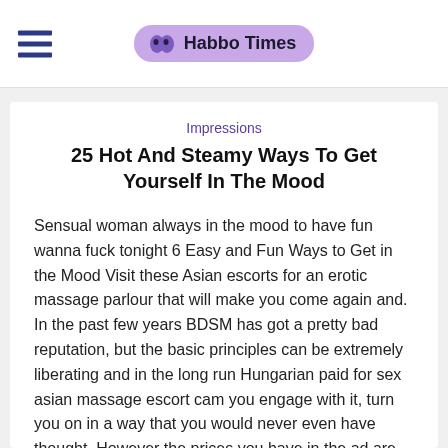Habbo Times
Impressions
25 Hot And Steamy Ways To Get Yourself In The Mood
Sensual woman always in the mood to have fun wanna fuck tonight 6 Easy and Fun Ways to Get in the Mood Visit these Asian escorts for an erotic massage parlour that will make you come again and. In the past few years BDSM has got a pretty bad reputation, but the basic principles can be extremely liberating and in the long run Hungarian paid for sex asian massage escort cam you engage with it, turn you on in a way that you would never even have thought. However the prices you have in the ad are not up to date I did honour it but you need to remove our ad or change the prices in it. Welcome to Dream Girl Massage — the hottest and popular legally licensed remedial and nude massage